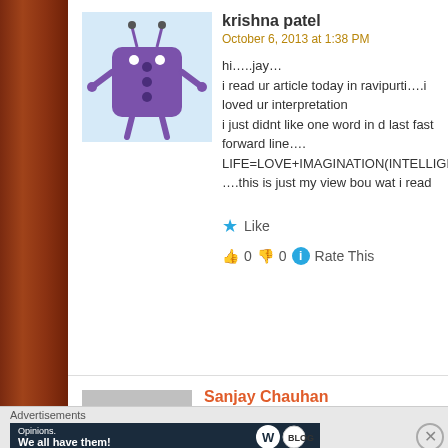[Figure (illustration): Purple cartoon robot avatar for user krishna patel]
krishna patel
October 6, 2013 at 1:38 PM
hi…..jay…
i read ur article today in ravipurti….i loved ur interpretation
i just didnt like one word in d last fast forward line….
LIFE=LOVE+IMAGINATION(INTELLIGENCE)+FEELINGS
….this is just my view bou wat i read
Like
👍 0 👎 0 ℹ Rate This
[Figure (photo): Gray silhouette placeholder avatar for user Sanjay Chauhan]
Sanjay Chauhan
October 7, 2013 at 11:27 AM
Dost. Your site's new theme looks really good. Now it's just Colorful 😉
Like
👍 0 👎 0 ℹ Rate This
Advertisements
[Figure (screenshot): WordPress advertisement banner: Opinions. We all have them!]